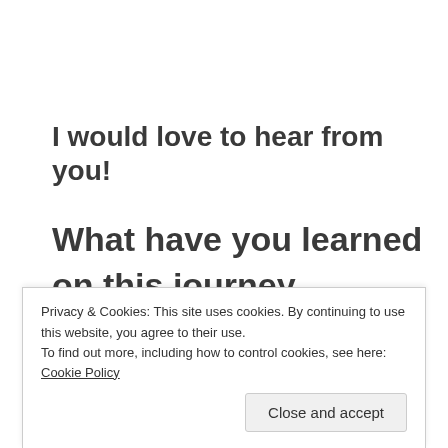I would love to hear from you!
What have you learned on this journey with me?
Have you made lasting changes? Like
Privacy & Cookies: This site uses cookies. By continuing to use this website, you agree to their use.
To find out more, including how to control cookies, see here: Cookie Policy
Close and accept